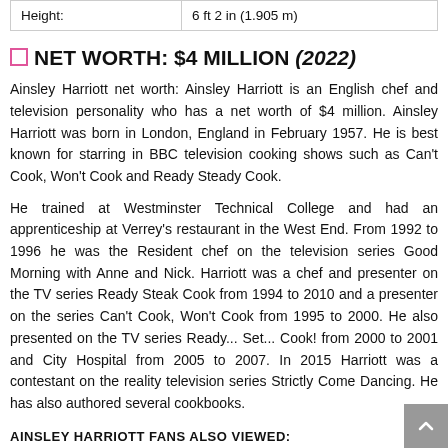| Height: |  |
| --- | --- |
| Height: | 6 ft 2 in (1.905 m) |
NET WORTH: $4 MILLION (2022)
Ainsley Harriott net worth: Ainsley Harriott is an English chef and television personality who has a net worth of $4 million. Ainsley Harriott was born in London, England in February 1957. He is best known for starring in BBC television cooking shows such as Can't Cook, Won't Cook and Ready Steady Cook.
He trained at Westminster Technical College and had an apprenticeship at Verrey's restaurant in the West End. From 1992 to 1996 he was the Resident chef on the television series Good Morning with Anne and Nick. Harriott was a chef and presenter on the TV series Ready Steak Cook from 1994 to 2010 and a presenter on the series Can't Cook, Won't Cook from 1995 to 2000. He also presented on the TV series Ready... Set... Cook! from 2000 to 2001 and City Hospital from 2005 to 2007. In 2015 Harriott was a contestant on the reality television series Strictly Come Dancing. He has also authored several cookbooks.
AINSLEY HARRIOTT FANS ALSO VIEWED: